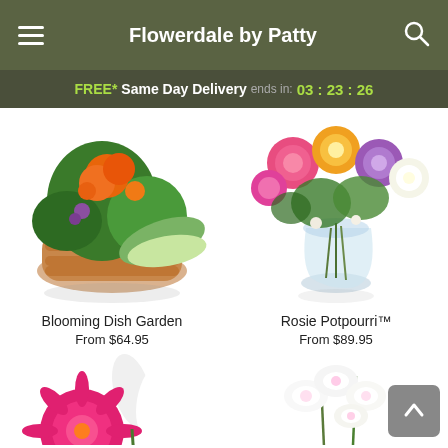Flowerdale by Patty
FREE* Same Day Delivery ends in: 03:23:26
[Figure (photo): Blooming Dish Garden in a wicker basket with orange, green, and purple flowers]
Blooming Dish Garden
From $64.95
[Figure (photo): Rosie Potpourri arrangement with colorful roses in a glass vase]
Rosie Potpourri™
From $89.95
[Figure (photo): Partial view of pink gerbera daisy arrangement at bottom left]
[Figure (photo): Partial view of white orchid arrangement at bottom right]